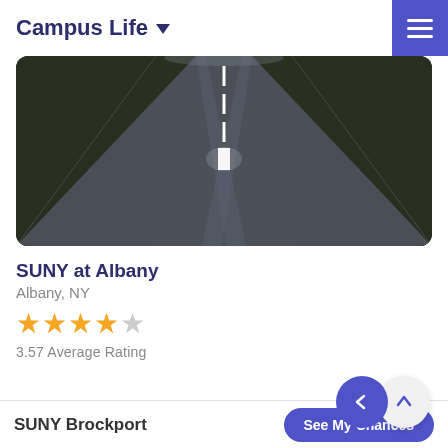Campus Life
[Figure (photo): Aerial perspective of a long straight road receding to the horizon, flanked by dark grassy fields on both sides, night or dusk lighting with white dashed center line.]
SUNY at Albany
Albany, NY
3.57 Average Rating
SUNY Brockport
See My Chances